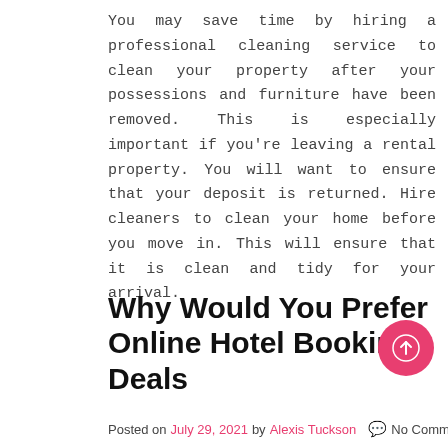You may save time by hiring a professional cleaning service to clean your property after your possessions and furniture have been removed. This is especially important if you're leaving a rental property. You will want to ensure that your deposit is returned. Hire cleaners to clean your home before you move in. This will ensure that it is clean and tidy for your arrival.
Why Would You Prefer Online Hotel Booking Deals
Posted on July 29, 2021 by Alexis Tuckson  💬 No Comments